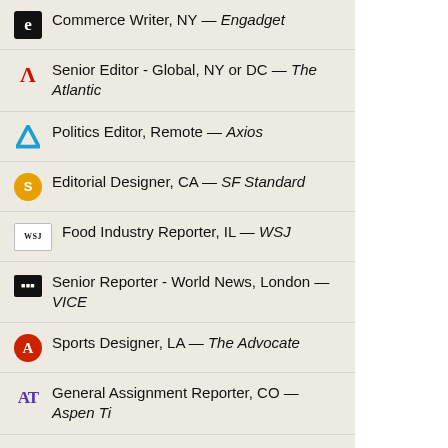Commerce Writer, NY — Engadget
Senior Editor - Global, NY or DC — The Atlantic
Politics Editor, Remote — Axios
Editorial Designer, CA — SF Standard
Food Industry Reporter, IL — WSJ
Senior Reporter - World News, London — VICE
Sports Designer, LA — The Advocate
General Assignment Reporter, CO — Aspen Times